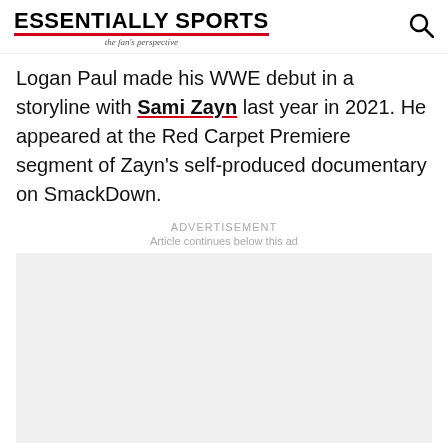ESSENTIALLY SPORTS — the fan's perspective
Logan Paul made his WWE debut in a storyline with Sami Zayn last year in 2021. He appeared at the Red Carpet Premiere segment of Zayn's self-produced documentary on SmackDown.
ADVERTISEMENT
Article continues below this ad
[Figure (other): Advertisement placeholder box (light gray rectangle)]